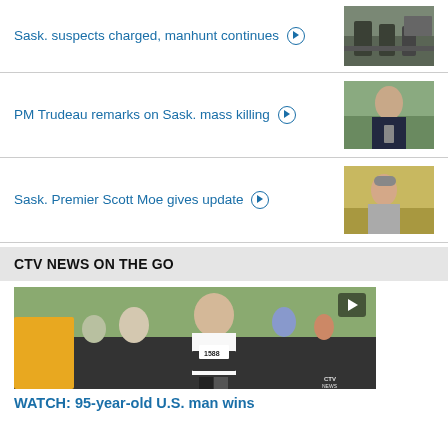Sask. suspects charged, manhunt continues ▶
[Figure (photo): Police officers standing near vehicles outdoors]
PM Trudeau remarks on Sask. mass killing ▶
[Figure (photo): PM Trudeau at a podium with microphone outdoors]
Sask. Premier Scott Moe gives update ▶
[Figure (photo): Man in white shirt and cap standing in a field]
CTV NEWS ON THE GO
[Figure (photo): Elderly man wearing race bib number 1588 running in a race]
WATCH: 95-year-old U.S. man wins